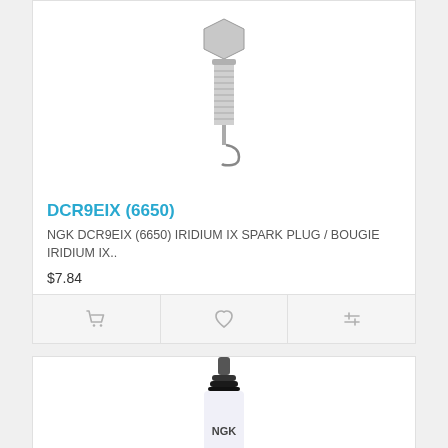[Figure (photo): NGK DCR9EIX spark plug photo, top portion cropped, showing threaded metal body and electrode tip]
DCR9EIX (6650)
NGK DCR9EIX (6650) IRIDIUM IX SPARK PLUG / BOUGIE IRIDIUM IX..
$7.84
[Figure (photo): NGK spark plug full view showing white ceramic insulator with NGK label, metal hex body, and threaded stem]